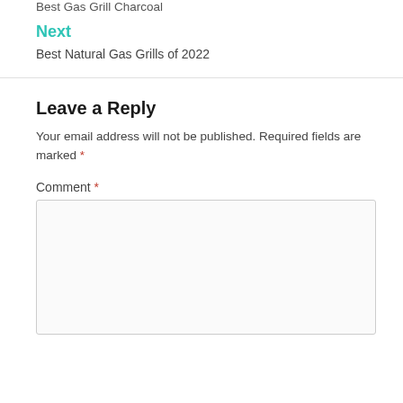Best Gas Grill Charcoal
Next
Best Natural Gas Grills of 2022
Leave a Reply
Your email address will not be published. Required fields are marked *
Comment *